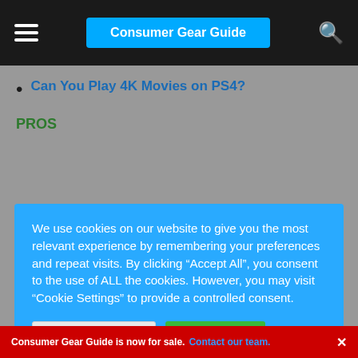Consumer Gear Guide
Can You Play 4K Movies on PS4?
PROS
We use cookies on our website to give you the most relevant experience by remembering your preferences and repeat visits. By clicking “Accept All”, you consent to the use of ALL the cookies. However, you may visit “Cookie Settings” to provide a controlled consent.
CONS
Gets hot during intense use
Consumer Gear Guide is now for sale. Contact our team. ×